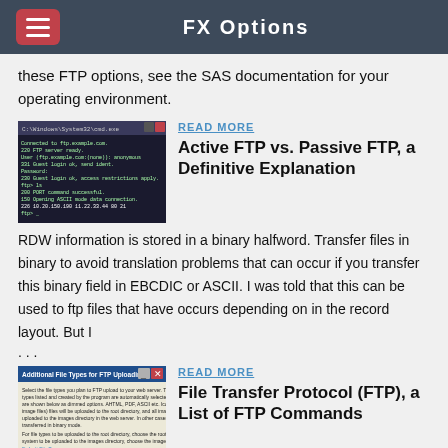FX Options
these FTP options, see the SAS documentation for your operating environment.
[Figure (screenshot): Terminal/command prompt screenshot showing FTP session output]
READ MORE
Active FTP vs. Passive FTP, a Definitive Explanation
RDW information is stored in a binary halfword. Transfer files in binary to avoid translation problems that can occur if you transfer this binary field in EBCDIC or ASCII. I was told that this can be used to ftp files that have occurs depending on in the record layout. But I
...
[Figure (screenshot): Dialog box for Additional File Types for FTP Uploading]
READ MORE
File Transfer Protocol (FTP), a List of FTP Commands